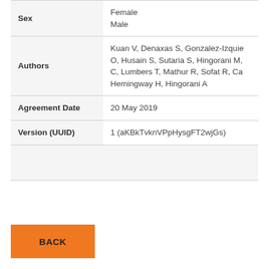| Field | Value |
| --- | --- |
| Sex | Female
Male |
| Authors | Kuan V, Denaxas S, Gonzalez-Izquie O, Husain S, Sutaria S, Hingorani M, C, Lumbers T, Mathur R, Sofat R, Ca Hemingway H, Hingorani A |
| Agreement Date | 20 May 2019 |
| Version (UUID) | 1 (aKBkTvknVPpHysgFT2wjGs) |
|  |  |
BACK